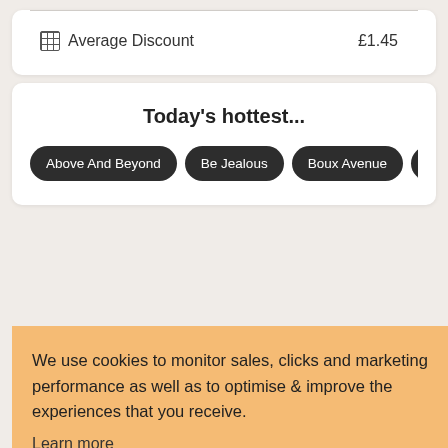| ⊞ Average Discount | £1.45 |
Today's hottest...
Above And Beyond
Be Jealous
Boux Avenue
Endura
We use cookies to monitor sales, clicks and marketing performance as well as to optimise & improve the experiences that you receive.
Learn more
GOT IT!